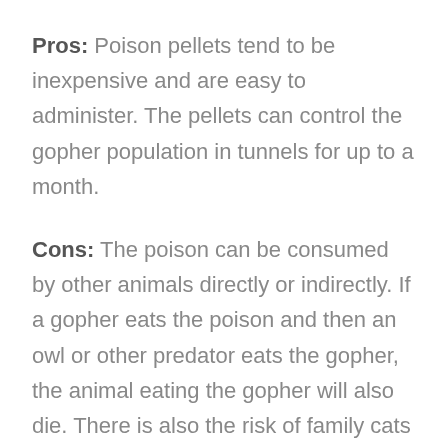Pros: Poison pellets tend to be inexpensive and are easy to administer. The pellets can control the gopher population in tunnels for up to a month.
Cons: The poison can be consumed by other animals directly or indirectly. If a gopher eats the poison and then an owl or other predator eats the gopher, the animal eating the gopher will also die. There is also the risk of family cats and dogs accessing the poison by accident. The use of bait should be thoughtfully